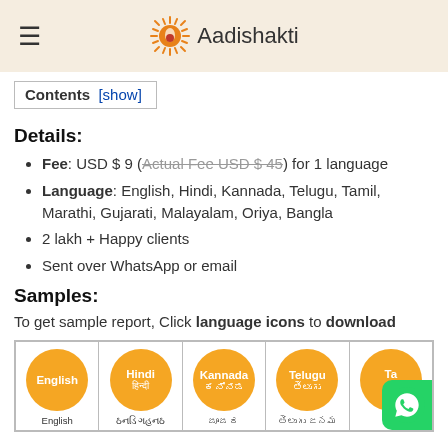Aadishakti
Contents [show]
Details:
Fee: USD $ 9 (Actual Fee USD $ 45) for 1 language
Language: English, Hindi, Kannada, Telugu, Tamil, Marathi, Gujarati, Malayalam, Oriya, Bangla
2 lakh + Happy clients
Sent over WhatsApp or email
Samples:
To get sample report, Click language icons to download
[Figure (other): Language icons table showing orange circles for English, Hindi, Kannada, Telugu, Tamil with labels below]